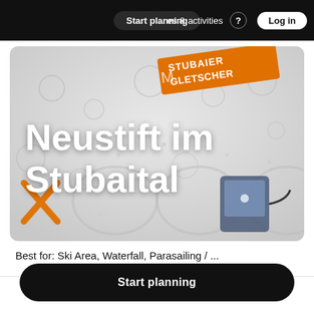Start planning   experiences & activities   Log in
[Figure (photo): Hero image of snowy glacier scene with 'Stubaier Gletscher' orange logo banner, large bold white text 'Neustift im Stubaital', orange X mark and a GPS device visible]
Best for: Ski Area, Waterfall, Parasailing / ...
Start planning